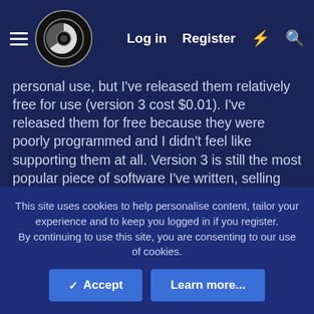Log in | Register
personal use, but I've released them relatively free for use (version 3 cost $0.01). I've released them for free because they were poorly programmed and I didn't feel like supporting them at all. Version 3 is still the most popular piece of software I've written, selling over 10,000 copies to this day (again, for as low as $0.01). This new version 4 is written from the ground up, as a website.
Why rewrite Scoreboard Assistant as a website?
I've always been a web-developer; never much of a person for compiled programming languages. Version 3 of SBA (for .NET)
This site uses cookies to help personalise content, tailor your experience and to keep you logged in if you register.
By continuing to use this site, you are consenting to our use of cookies.